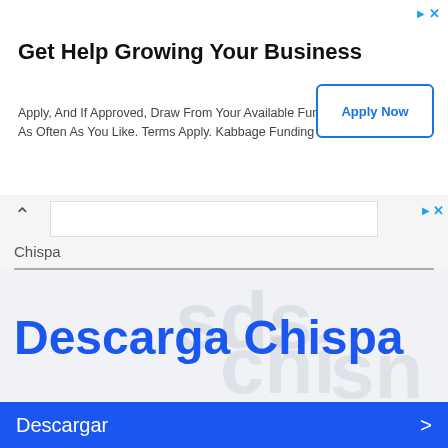[Figure (screenshot): Advertisement banner for Kabbage Funding with 'Get Help Growing Your Business' headline and 'Apply Now' button]
Get Help Growing Your Business
Apply, And If Approved, Draw From Your Available Funds As Often As You Like. Terms Apply. Kabbage Funding
Chispa
Descarga Chispa
Descargar